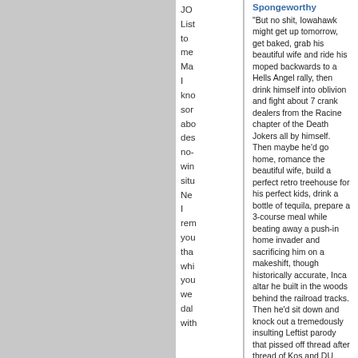JO List to me Ma I kno sor abo des no- win situ Ne I rem you tha whi you we dal with
Spongeworthy
"But no shit, Iowahawk might get up tomorrow, get baked, grab his beautiful wife and ride his moped backwards to a Hells Angel rally, then drink himself into oblivion and fight about 7 crank dealers from the Racine chapter of the Death Jokers all by himself. Then maybe he'd go home, romance the beautiful wife, build a perfect retro treehouse for his perfect kids, drink a bottle of tequila, prepare a 3-course meal while beating away a push-in home invader and sacrificing him on a makeshift, though historically accurate, Inca altar he built in the woods behind the railroad tracks. Then he'd sit down and knock out a tremedously insulting Leftist parody that pissed off thread after thread of Kos and DU lunatics, romance the bride once again and fall asleep chuckling. It's like he's Paul Bunyan and Mark Twain rolled up into one hipster"
Allahpundit
"profane... bloodthirsty... hilarious"
Patterico
"...the guy is a comic genius"
Thomas Lifson (The American Thinker)
"Now more than ever. America needs Iowahawk"
Tim Blair
"...more cool than is healthy for any human... he is from deep space"
Charles Johnson (Little Green Footballs)
"Iowahawk is some kinda damn genius"